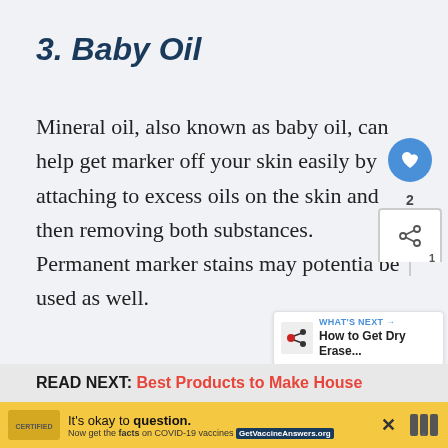3. Baby Oil
Mineral oil, also known as baby oil, can help get marker off your skin easily by attaching to excess oils on the skin and then removing both substances. Permanent marker stains may potentially be used as well.
READ NEXT:  Best Products to Make House
[Figure (infographic): Yellow advertisement bar: It's okay to question. Now get the facts on COVID-19 vaccines. GetVaccineAnswers.org]